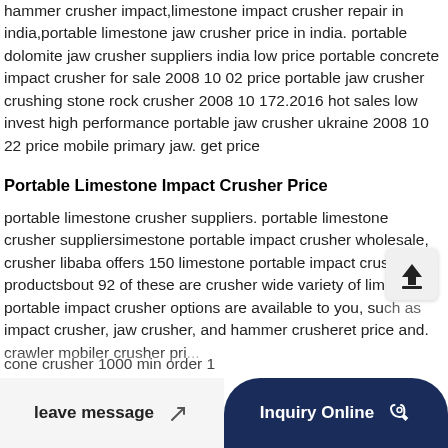hammer crusher impact,limestone impact crusher repair in india,portable limestone jaw crusher price in india. portable dolomite jaw crusher suppliers india low price portable concrete impact crusher for sale 2008 10 02 price portable jaw crusher crushing stone rock crusher 2008 10 172.2016 hot sales low invest high performance portable jaw crusher ukraine 2008 10 22 price mobile primary jaw. get price
Portable Limestone Impact Crusher Price
portable limestone crusher suppliers. portable limestone crusher suppliersimestone portable impact crusher wholesale, crusher libaba offers 150 limestone portable impact crusher productsbout 92 of these are crusher wide variety of limestone portable impact crusher options are available to you, such as impact crusher, jaw crusher, and hammer crusheret price and. crawler mobiler crusher pri... cone crusher 1000 min order ...
[Figure (other): Upload/share icon button overlaid on text content, dark navy rounded rectangle shape]
leave message
Inquiry Online